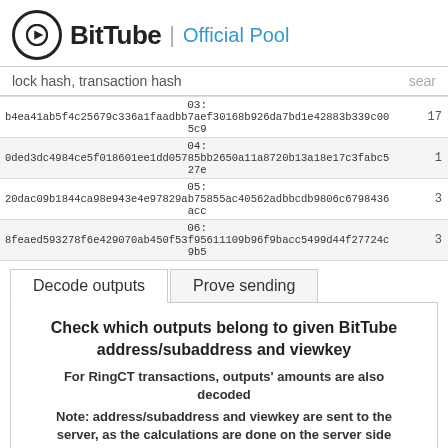BitTube | Official Pool
lock hash, transaction hash   sear
| hash | num |
| --- | --- |
| 03:
b4ea41ab5f4c25679c336a1faadbb7aef30168b926da7bd1e42883b339c005c9 | 17 |
| 04:
0ded3dc4984ce5f018601ee1dd05785bb2650a11a8720b13a18e17c3fabc527e | 1 |
| 05:
20dac09b1844ca98e943e4e97829ab75855ac40562adbbcdb9806c6798436acc | 3 |
| 06:
8feaed593278f6e429070ab450f53f95611109b96f9bacc5499d44f27724c9b5 | 3 |
Decode outputs | Prove sending
Check which outputs belong to given BitTube address/subaddress and viewkey
For RingCT transactions, outputs' amounts are also decoded
Note: address/subaddress and viewkey are sent to the server, as the calculations are done on the server side
BitTube address/subaddress
Private viewkey